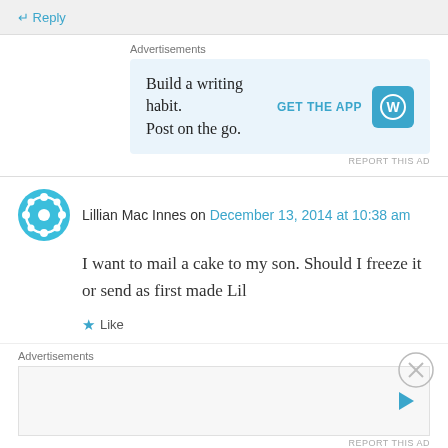↵ Reply
Advertisements
[Figure (infographic): WordPress advertisement: Build a writing habit. Post on the go. GET THE APP with WordPress logo icon. Light blue background.]
REPORT THIS AD
Lillian Mac Innes on December 13, 2014 at 10:38 am
I want to mail a cake to my son. Should I freeze it or send as first made Lil
★ Like
↵ Reply
Lily on February 2, 2015 at 12:56 pm
Advertisements
[Figure (other): Advertisement placeholder with play icon]